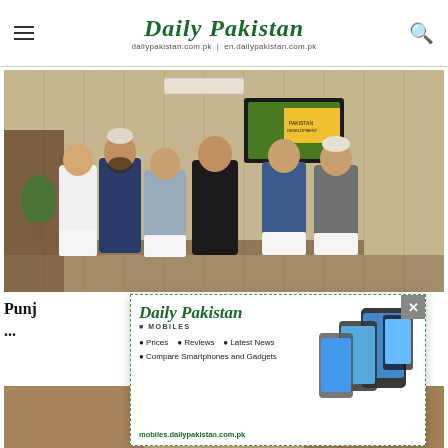Daily Pakistan | dailypakistan.com.pk | en.dailypakistan.com.pk
[Figure (photo): Group photo of six men in traditional Pakistani attire standing in an office room with wooden wall paneling, an air conditioning unit above, and a TV screen showing a document. A plant is visible on the left side.]
Punj... ...or ...
[Figure (advertisement): Daily Pakistan Mobiles advertisement popup showing logo, bullet points (Prices, Reviews, Latest News, Compare Smartphones and Gadgets), phone images on right side, and website URL mobiles.dailypakistan.com.pk at bottom. Has a close (X) button.]
[Figure (photo): Partial photo visible at the bottom of the page, appears to show a wooden/brown toned background, partially obscured by the popup ad.]